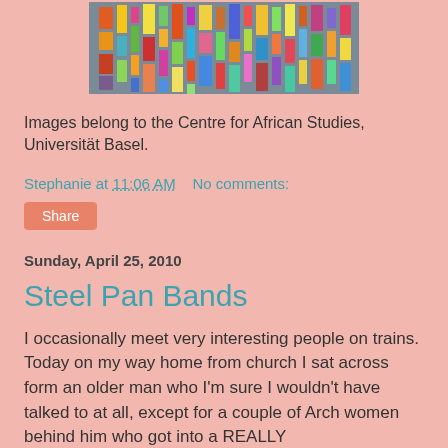[Figure (photo): Colorful patchwork quilt with multicolored rectangular patches on gray fabric background]
Images belong to the Centre for African Studies, Universität Basel.
Stephanie at 11:06 AM   No comments:
Share
Sunday, April 25, 2010
Steel Pan Bands
I occasionally meet very interesting people on trains. Today on my way home from church I sat across form an older man who I'm sure I wouldn't have talked to at all, except for a couple of Arch women behind him who got into a REALLY